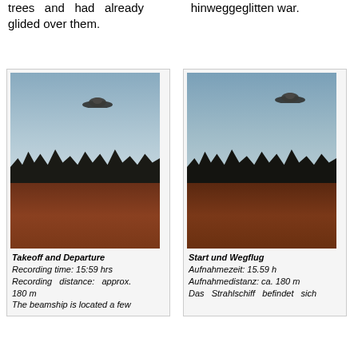trees and had already glided over them.
hinweggeglitten war.
[Figure (photo): Photo of a UFO (flying saucer) hovering in a cloudy sky above dark tree silhouettes and a brown field. Left photo of a pair showing takeoff and departure scene.]
Takeoff and Departure
Recording time: 15:59 hrs
Recording distance: approx. 180 m
The beamship is located a few
[Figure (photo): Photo of a UFO (flying saucer) hovering in a cloudy sky above dark tree silhouettes and a brown field. Right photo, German caption version.]
Start und Wegflug
Aufnahmezeit: 15.59 h
Aufnahmedistanz: ca. 180 m
Das Strahlschiff befindet sich